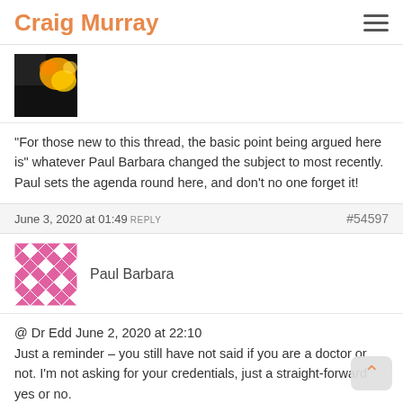Craig Murray
[Figure (photo): Partial avatar image showing black and orange/yellow color, top of a comment]
"For those new to this thread, the basic point being argued here is" whatever Paul Barbara changed the subject to most recently. Paul sets the agenda round here, and don't no one forget it!
June 3, 2020 at 01:49 REPLY   #54597
[Figure (photo): Paul Barbara avatar: pink geometric diamond/square pattern]
Paul Barbara
@ Dr Edd June 2, 2020 at 22:10
Just a reminder – you still have not said if you are a doctor or not. I'm not asking for your credentials, just a straight-forward yes or no.
I didn't say any of those Tetanus cases doctors were...